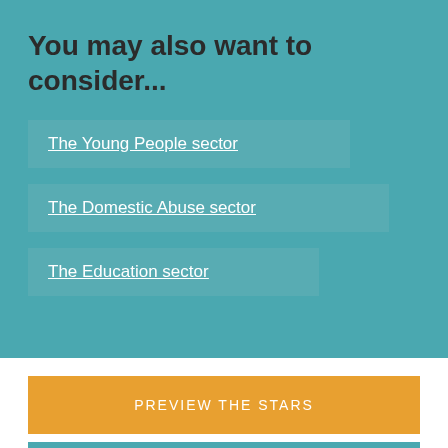You may also want to consider...
The Young People sector
The Domestic Abuse sector
The Education sector
PREVIEW THE STARS